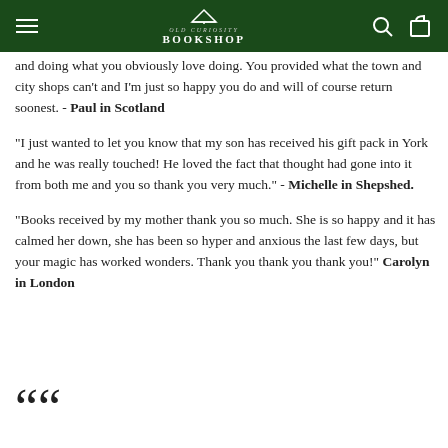OLD CURIOSITY BOOKSHOP
and doing what you obviously love doing. You provided what the town and city shops can't and I'm just so happy you do and will of course return soonest. - Paul in Scotland
"I just wanted to let you know that my son has received his gift pack in York and he was really touched! He loved the fact that thought had gone into it from both me and you so thank you very much." - Michelle in Shepshed.
"Books received by my mother thank you so much. She is so happy and it has calmed her down, she has been so hyper and anxious the last few days, but your magic has worked wonders. Thank you thank you thank you!" Carolyn in London
““